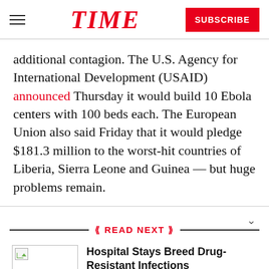TIME | SUBSCRIBE
additional contagion. The U.S. Agency for International Development (USAID) announced Thursday it would build 10 Ebola centers with 100 beds each. The European Union also said Friday that it would pledge $181.3 million to the worst-hit countries of Liberia, Sierra Leone and Guinea — but huge problems remain.
READ NEXT
Hospital Stays Breed Drug-Resistant Infections